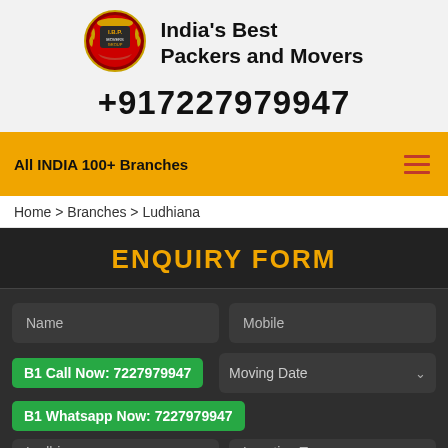[Figure (logo): India's Best Packers and Movers circular logo badge with I.B.P. text]
India's Best Packers and Movers
+917227979947
All INDIA 100+ Branches
Home > Branches > Ludhiana
ENQUIRY FORM
Name
Mobile
B1 Call Now: 7227979947
Moving Date
B1 Whatsapp Now: 7227979947
Email
Ludhiana
Location To